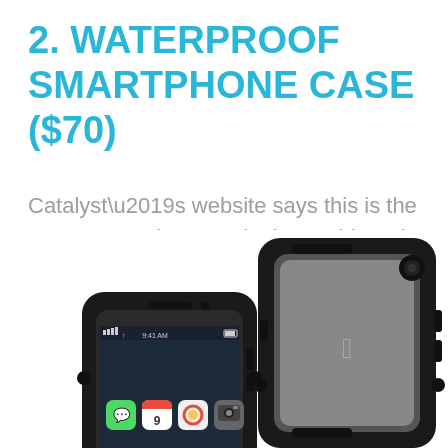2. WATERPROOF SMARTPHONE CASE ($70)
Catalyst’s website says this is the “most protective case in the world” and it’s design is sleek, too.
[Figure (photo): Two waterproof smartphone cases (Catalyst brand) shown from the back, one in front of the other, both black with clear backs revealing an iPhone inside.]